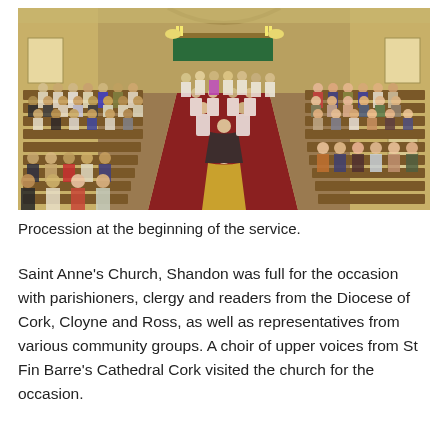[Figure (photo): Interior of Saint Anne's Church, Shandon during a service. View from the back of the church looking toward the altar. A procession is taking place with clergy in white robes and one in a yellow/gold cope walking down the central aisle. Pews on both sides are filled with parishioners. The altar area at the far end is decorated with flowers and green frontal. The church walls are yellow/cream colored.]
Procession at the beginning of the service.
Saint Anne's Church, Shandon was full for the occasion with parishioners, clergy and readers from the Diocese of Cork, Cloyne and Ross, as well as representatives from various community groups. A choir of upper voices from St Fin Barre's Cathedral Cork visited the church for the occasion.